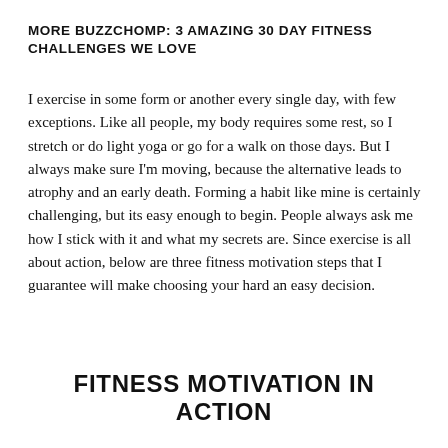MORE BUZZCHOMP: 3 AMAZING 30 DAY FITNESS CHALLENGES WE LOVE
I exercise in some form or another every single day, with few exceptions. Like all people, my body requires some rest, so I stretch or do light yoga or go for a walk on those days. But I always make sure I'm moving, because the alternative leads to atrophy and an early death. Forming a habit like mine is certainly challenging, but its easy enough to begin. People always ask me how I stick with it and what my secrets are. Since exercise is all about action, below are three fitness motivation steps that I guarantee will make choosing your hard an easy decision.
FITNESS MOTIVATION IN ACTION